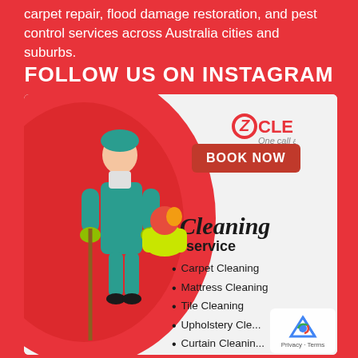carpet repair, flood damage restoration, and pest control services across Australia cities and suburbs.
FOLLOW US ON INSTAGRAM
[Figure (illustration): OZ Cleaning service advertisement image inside a circular frame on light grey background. Features a female cleaner in teal uniform holding a mop and cleaning supplies basket, with 'OZ Cleaning — One call away' branding, a red 'BOOK NOW' button, and a list of services: Carpet Cleaning, Mattress Cleaning, Tile Cleaning, Upholstery Cleaning, Curtain Cleaning, Flood Water Damage Restoration. A reCAPTCHA privacy badge appears in the bottom-right corner.]